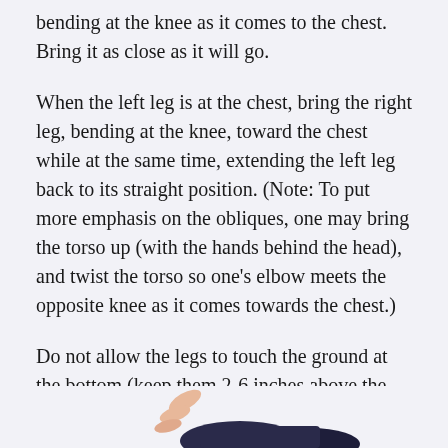bending at the knee as it comes to the chest. Bring it as close as it will go.
When the left leg is at the chest, bring the right leg, bending at the knee, toward the chest while at the same time, extending the left leg back to its straight position. (Note: To put more emphasis on the obliques, one may bring the torso up (with the hands behind the head), and twist the torso so one's elbow meets the opposite knee as it comes towards the chest.)
Do not allow the legs to touch the ground at the bottom (keep them 2-6 inches above the ground). Hold the lowered position for 1-2 seconds before alternating to the other leg.
[Figure (photo): Partial view of a person performing a leg exercise, showing lower body with dark pants, bottom edge of page.]